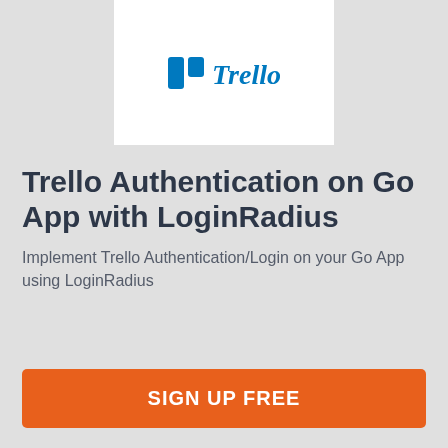[Figure (logo): Trello logo: blue grid icon with two columns of squares, followed by the word 'Trello' in blue italic script, on a white card background.]
Trello Authentication on Go App with LoginRadius
Implement Trello Authentication/Login on your Go App using LoginRadius
SIGN UP FREE